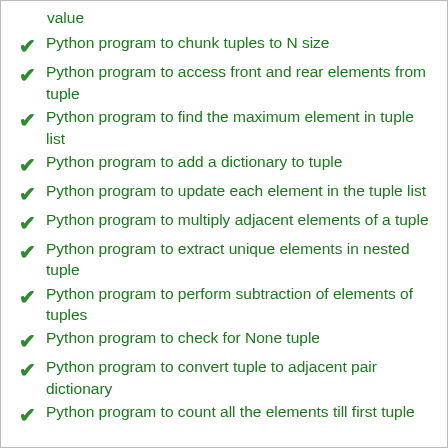value
Python program to chunk tuples to N size
Python program to access front and rear elements from tuple
Python program to find the maximum element in tuple list
Python program to add a dictionary to tuple
Python program to update each element in the tuple list
Python program to multiply adjacent elements of a tuple
Python program to extract unique elements in nested tuple
Python program to perform subtraction of elements of tuples
Python program to check for None tuple
Python program to convert tuple to adjacent pair dictionary
Python program to count all the elements till first tuple